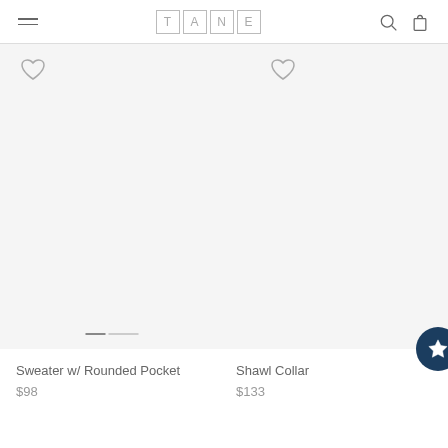TANE — navigation header with hamburger menu, logo, search and cart icons
[Figure (screenshot): Product listing page showing two clothing items. Left: Sweater w/ Rounded Pocket at $98. Right (partially visible): Shawl Collar item at $133. Both have heart wishlist icons. Slide indicator dots visible. Dark blue star/bookmark button at bottom right.]
Sweater w/ Rounded Pocket
$98
Shawl Collar
$133